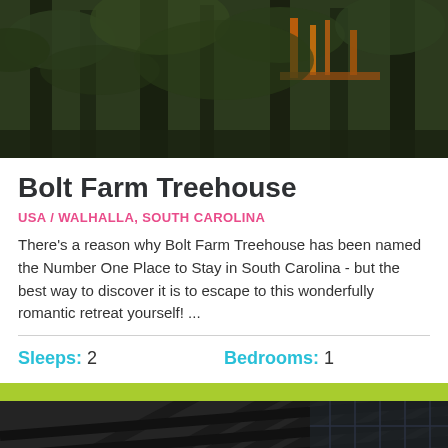[Figure (photo): Exterior photo of Bolt Farm Treehouse showing trees and wooden structure with orange/yellow elements visible through forest canopy]
Bolt Farm Treehouse
USA / WALHALLA, SOUTH CAROLINA
There's a reason why Bolt Farm Treehouse has been named the Number One Place to Stay in South Carolina - but the best way to discover it is to escape to this wonderfully romantic retreat yourself! ...
Sleeps: 2   Bedrooms: 1
[Figure (photo): Interior or underside structural photo showing dark wooden slat ceiling/roof structure with geometric patterns, viewed from below at an angle]